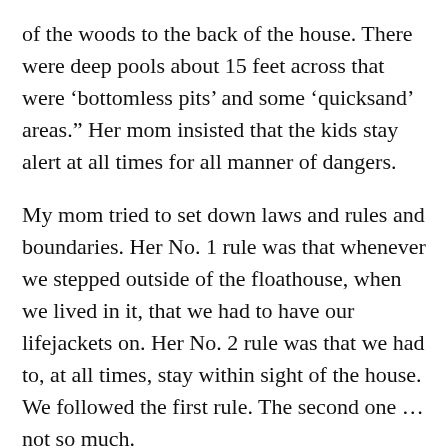of the woods to the back of the house. There were deep pools about 15 feet across that were ‘bottomless pits’ and some ‘quicksand’ areas.” Her mom insisted that the kids stay alert at all times for all manner of dangers.
My mom tried to set down laws and rules and boundaries. Her No. 1 rule was that whenever we stepped outside of the floathouse, when we lived in it, that we had to have our lifejackets on. Her No. 2 rule was that we had to, at all times, stay within sight of the house. We followed the first rule. The second one … not so much.
It wasn’t all fear, work, and hardship, though. There was a lot of freedom and play growing up in rural Alaska.